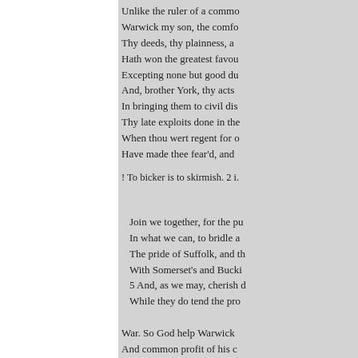Unlike the ruler of a commo
Warwick my son, the comfo
Thy deeds, thy plainness, a
Hath won the greatest favou
Excepting none but good du
And, brother York, thy acts
In bringing them to civil dis
Thy late exploits done in the
When thou wert regent for o
Have made thee fear'd, and
! To bicker is to skirmish. 2 i.
Join we together, for the pu
In what we can, to bridle a
The pride of Suffolk, and th
With Somerset's and Bucki
5 And, as we may, cherish d
While they do tend the pro
War. So God help Warwick
And common profit of his c